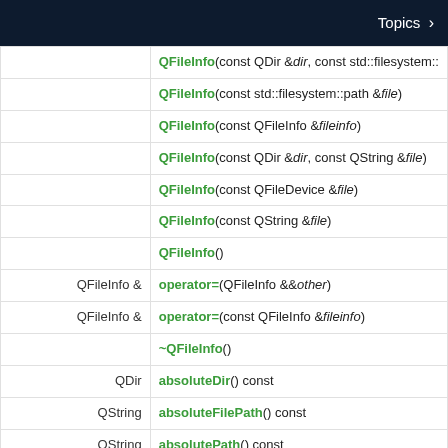Topics
| Return type | Function signature |
| --- | --- |
|  | QFileInfo(const QDir &dir, const std::filesystem::p… |
|  | QFileInfo(const std::filesystem::path &file) |
|  | QFileInfo(const QFileInfo &fileinfo) |
|  | QFileInfo(const QDir &dir, const QString &file) |
|  | QFileInfo(const QFileDevice &file) |
|  | QFileInfo(const QString &file) |
|  | QFileInfo() |
| QFileInfo & | operator=(QFileInfo &&other) |
| QFileInfo & | operator=(const QFileInfo &fileinfo) |
|  | ~QFileInfo() |
| QDir | absoluteDir() const |
| QString | absoluteFilePath() const |
| QString | absolutePath() const |